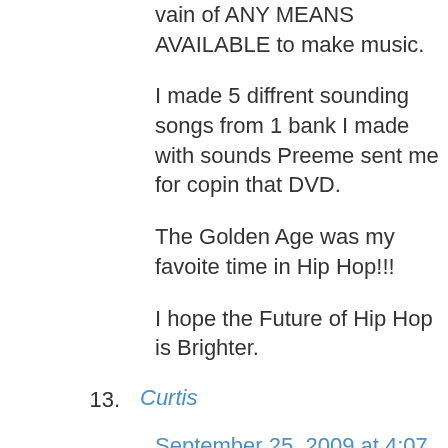vain of ANY MEANS AVAILABLE to make music.
I made 5 diffrent sounding songs from 1 bank I made with sounds Preeme sent me for copin that DVD.
The Golden Age was my favoite time in Hip Hop!!!
I hope the Future of Hip Hop is Brighter.
13. Curtis
September 25, 2009 at 4:07 pm
Getting a good beat maker is a must for anyone...and I mean anyone